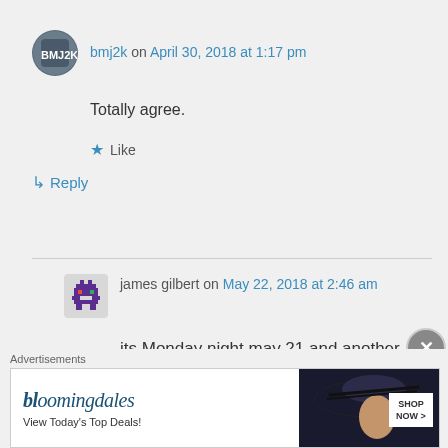bmj2k on April 30, 2018 at 1:17 pm
Totally agree.
★ Like
↳ Reply
james gilbert on May 22, 2018 at 2:46 am
its Monday night may 21 and another infomercial night on c2c its
Advertisements
[Figure (other): Bloomingdale's advertisement banner with logo, 'View Today's Top Deals!' tagline, a woman in a hat, and SHOP NOW button]